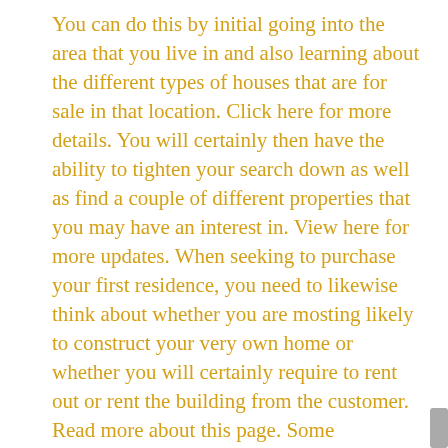You can do this by initial going into the area that you live in and also learning about the different types of houses that are for sale in that location. Click here for more details. You will certainly then have the ability to tighten your search down as well as find a couple of different properties that you may have an interest in. View here for more updates. When seeking to purchase your first residence, you need to likewise think about whether you are mosting likely to construct your very own home or whether you will certainly require to rent out or rent the building from the customer. Read more about this page. Some individuals are uncertain about which way they should go as there are pros and cons to both strategies. Learn more about this homepage. Those who choose to develop their residences by themselves commonly discover that the residential property is even more affordable than those that rent. Check info. here. It is also a whole lot much more personal as well as you can develop precisely the house that you want, rather than